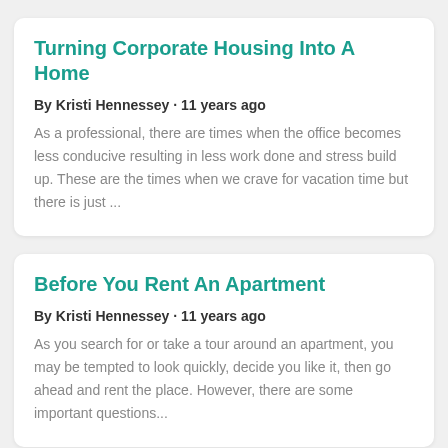Turning Corporate Housing Into A Home
By Kristi Hennessey · 11 years ago
As a professional, there are times when the office becomes less conducive resulting in less work done and stress build up. These are the times when we crave for vacation time but there is just ...
Before You Rent An Apartment
By Kristi Hennessey · 11 years ago
As you search for or take a tour around an apartment, you may be tempted to look quickly, decide you like it, then go ahead and rent the place. However, there are some important questions...